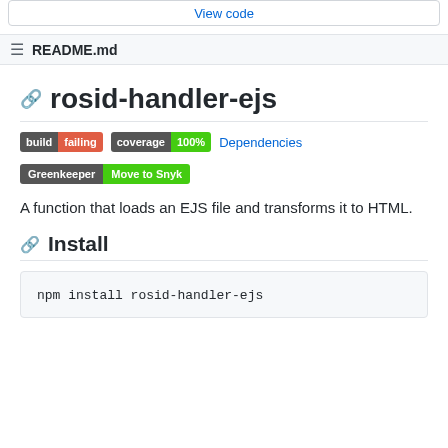View code
README.md
rosid-handler-ejs
[Figure (infographic): Build status badges: build failing (red), coverage 100% (green), Dependencies link (blue), Greenkeeper Move to Snyk badge (green)]
A function that loads an EJS file and transforms it to HTML.
Install
npm install rosid-handler-ejs